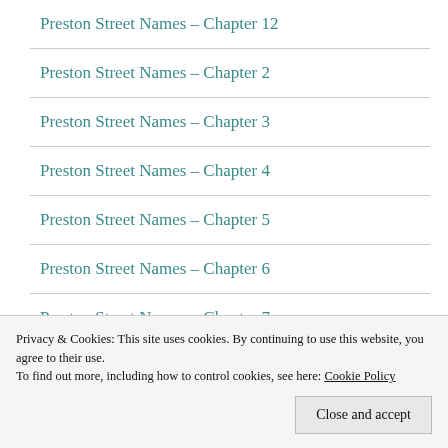Preston Street Names – Chapter 12
Preston Street Names – Chapter 2
Preston Street Names – Chapter 3
Preston Street Names – Chapter 4
Preston Street Names – Chapter 5
Preston Street Names – Chapter 6
Preston Street Names – Chapter 7
Privacy & Cookies: This site uses cookies. By continuing to use this website, you agree to their use.
To find out more, including how to control cookies, see here: Cookie Policy
Close and accept